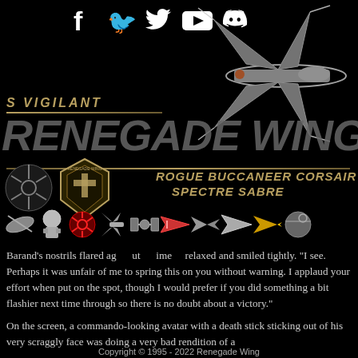[Figure (logo): Social media icons row: Facebook, Twitter, YouTube, Discord in white on black background]
[Figure (illustration): X-wing fighter spacecraft in white/grey against black background, top right corner]
S VIGILANT
RENEGADE WING
ROGUE BUCCANEER CORSAIR
SPECTRE SABRE
[Figure (logo): Rebel Alliance symbol and Renegade Wing shield badge logos]
[Figure (illustration): Row of Star Wars themed emoji icons: ship, R2-D2, Rebel symbol, X-wing, TIE fighter, red ship, other ships, Death Star]
Barand's nostrils flared ag ut ime relaxed and smiled tightly. "I see. Perhaps it was unfair of me to spring this on you without warning. I applaud your effort when put on the spot, though I would prefer if you did something a bit flashier next time through so there is no doubt about a victory."
On the screen, a commando-looking avatar with a death stick sticking out of his very scraggly face was doing a very bad rendition of a
Copyright © 1995 - 2022 Renegade Wing